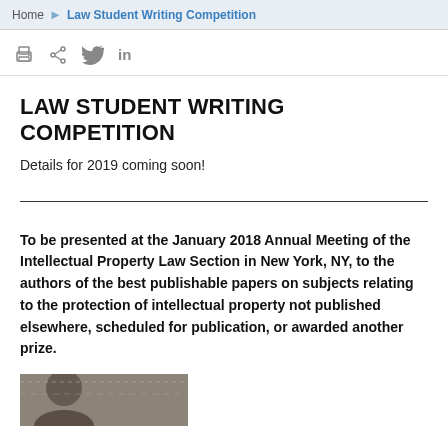Home > Law Student Writing Competition
[Figure (other): Social sharing icons: print, share, Twitter, LinkedIn]
LAW STUDENT WRITING COMPETITION
Details for 2019 coming soon!
To be presented at the January 2018 Annual Meeting of the Intellectual Property Law Section in New York, NY, to the authors of the best publishable papers on subjects relating to the protection of intellectual property not published elsewhere, scheduled for publication, or awarded another prize.
[Figure (photo): Photograph of a person, partially visible at bottom of page]